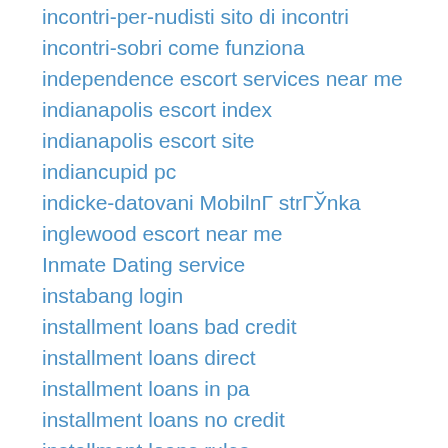incontri-per-nudisti sito di incontri
incontri-sobri come funziona
independence escort services near me
indianapolis escort index
indianapolis escort site
indiancupid pc
indicke-datovani MobilnГ strГЎnka
inglewood escort near me
Inmate Dating service
instabang login
installment loans bad credit
installment loans direct
installment loans in pa
installment loans no credit
installment loans rules